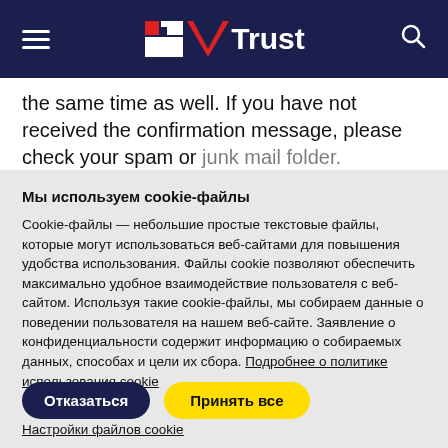Trust (logo/navigation header)
the same time as well. If you have not received the confirmation message, please check your spam or junk mail folder. Otherwise, fill out the form again
Мы используем cookie-файлы
Cookie-файлы — небольшие простые текстовые файлы, которые могут использоваться веб-сайтами для повышения удобства использования. Файлы cookie позволяют обеспечить максимально удобное взаимодействие пользователя с веб-сайтом. Используя такие cookie-файлы, мы собираем данные о поведении пользователя на нашем веб-сайте. Заявление о конфиденциальности содержит информацию о собираемых данных, способах и цели их сбора. Подробнее о политике использования cookie
Отказаться | Принять все
Настройки файлов cookie